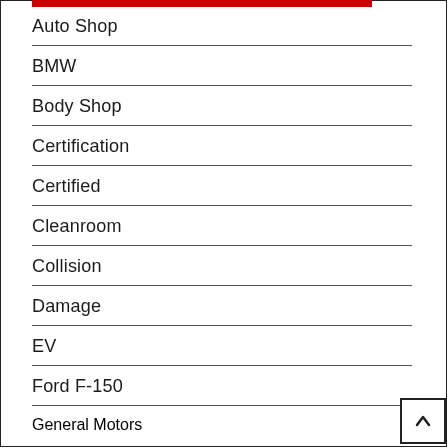Auto Shop
BMW
Body Shop
Certification
Certified
Cleanroom
Collision
Damage
EV
Ford F-150
General Motors